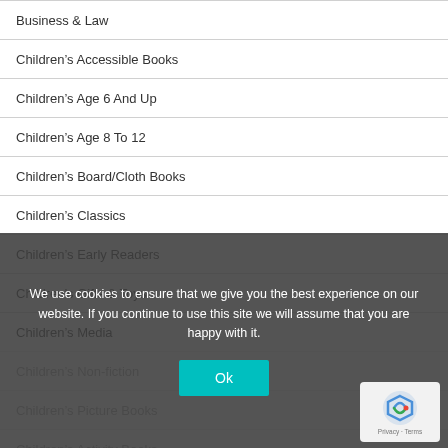Business & Law
Children's Accessible Books
Children's Age 6 And Up
Children's Age 8 To 12
Children's Board/Cloth Books
Children's Classics
Children's Early Readers
Children's Gifts & Toys
Children's Media
Children's Non-fiction
Children's Picture Books
Children's Activity Books
We use cookies to ensure that we give you the best experience on our website. If you continue to use this site we will assume that you are happy with it.